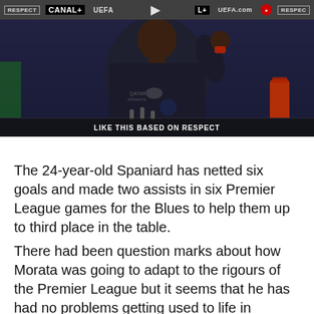[Figure (screenshot): Video thumbnail showing a person (footballer) at a press conference with UEFA/Canal+/Respect branding in the top bar. A play button is centered. Caption reads 'LIKE THIS BASED ON RESPECT'.]
The 24-year-old Spaniard has netted six goals and made two assists in six Premier League games for the Blues to help them up to third place in the table.
There had been question marks about how Morata was going to adapt to the rigours of the Premier League but it seems that he has had no problems getting used to life in England.